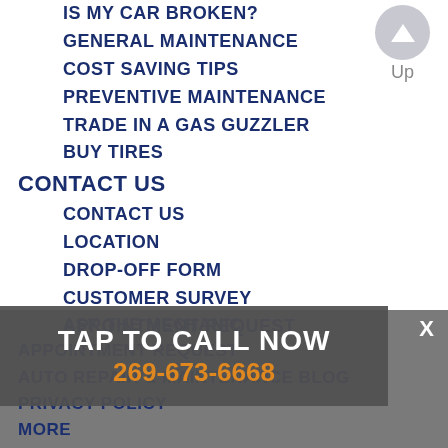IS MY CAR BROKEN?
GENERAL MAINTENANCE
COST SAVING TIPS
PREVENTIVE MAINTENANCE
TRADE IN A GAS GUZZLER
BUY TIRES
CONTACT US
CONTACT US
LOCATION
DROP-OFF FORM
CUSTOMER SURVEY
APPOINTMENT REQUEST
ASK THE MECHANIC
APPOINTMENT REQUEST
AUTO REPAIR & MAINTENANCE BLOG
PRIVACY POLICY
MORE
TAP TO CALL NOW
269-673-6668
[Figure (screenshot): Mobile website navigation menu showing car service categories and contact links, with a 'TAP TO CALL NOW' overlay bar and phone number 269-673-6668 in orange, and an Up button in the top right.]